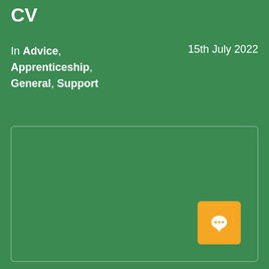CV
In Advice, Apprenticeship, General, Support    15th July 2022
[Figure (other): Green rectangular placeholder image area with rounded border outline on green background]